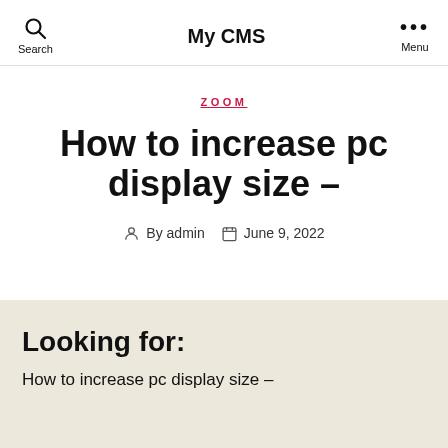Search  My CMS  Menu
ZOOM
How to increase pc display size –
By admin  June 9, 2022
Looking for:
How to increase pc display size –